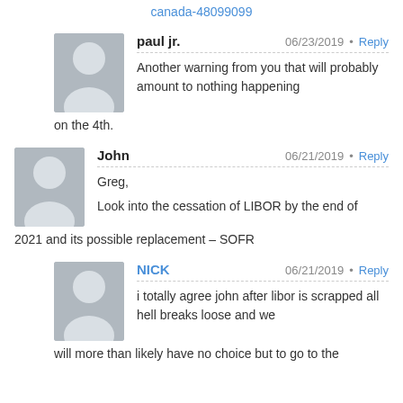canada-48099099
paul jr.  06/23/2019 · Reply
Another warning from you that will probably amount to nothing happening on the 4th.
John  06/21/2019 · Reply
Greg,
Look into the cessation of LIBOR by the end of 2021 and its possible replacement – SOFR
NICK  06/21/2019 · Reply
i totally agree john after libor is scrapped all hell breaks loose and we will more than likely have no choice but to go to the